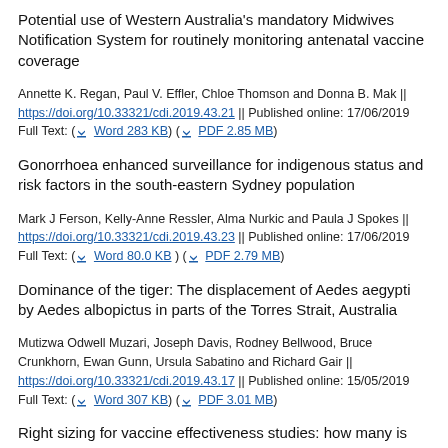Potential use of Western Australia's mandatory Midwives Notification System for routinely monitoring antenatal vaccine coverage
Annette K. Regan, Paul V. Effler, Chloe Thomson and Donna B. Mak || https://doi.org/10.33321/cdi.2019.43.21 || Published online: 17/06/2019 Full Text: ( Word 283 KB) ( PDF 2.85 MB)
Gonorrhoea enhanced surveillance for indigenous status and risk factors in the south-eastern Sydney population
Mark J Ferson, Kelly-Anne Ressler, Alma Nurkic and Paula J Spokes || https://doi.org/10.33321/cdi.2019.43.23 || Published online: 17/06/2019 Full Text: ( Word 80.0 KB ) ( PDF 2.79 MB)
Dominance of the tiger: The displacement of Aedes aegypti by Aedes albopictus in parts of the Torres Strait, Australia
Mutizwa Odwell Muzari, Joseph Davis, Rodney Bellwood, Bruce Crunkhorn, Ewan Gunn, Ursula Sabatino and Richard Gair || https://doi.org/10.33321/cdi.2019.43.17 || Published online: 15/05/2019 Full Text: ( Word 307 KB) ( PDF 3.01 MB)
Right sizing for vaccine effectiveness studies: how many is enough for reliable estimation?